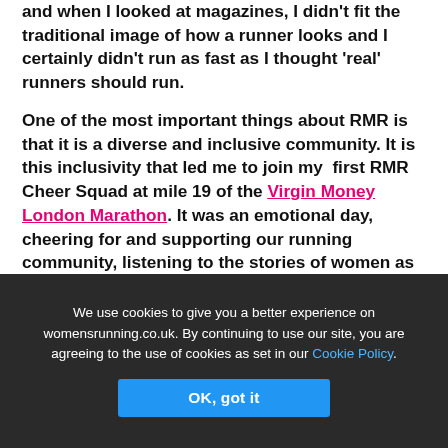and when I looked at magazines, I didn't fit the traditional image of how a runner looks and I certainly didn't run as fast as I thought 'real' runners should run.

One of the most important things about RMR is that it is a diverse and inclusive community. It is this inclusivity that led me to join my 🏅first RMR Cheer Squad at mile 19 of the Virgin Money London Marathon. It was an emotional day, cheering for and supporting our running community, listening to the stories of women as they cried, laughed and ran to achieve their personal marathon goals. I wouldn't have considered running my 🏅first marathon if I hadn't witnessed so many RMR women with a similar running pace to me, courageously
We use cookies to give you a better experience on womensrunning.co.uk. By continuing to use our site, you are agreeing to the use of cookies as set in our Cookie Policy.
OK, got it